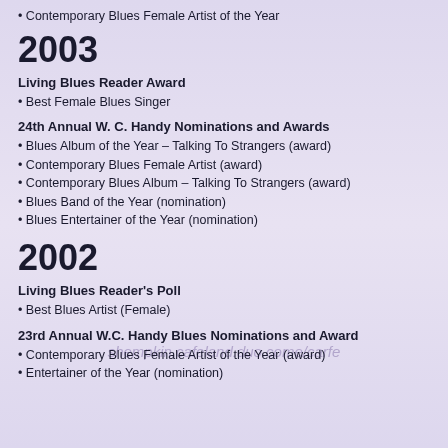• Contemporary Blues Female Artist of the Year
2003
Living Blues Reader Award
• Best Female Blues Singer
24th Annual W. C. Handy Nominations and Awards
• Blues Album of the Year – Talking To Strangers (award)
• Contemporary Blues Female Artist (award)
• Contemporary Blues Album – Talking To Strangers (award)
• Blues Band of the Year (nomination)
• Blues Entertainer of the Year (nomination)
2002
Living Blues Reader's Poll
• Best Blues Artist (Female)
23rd Annual W.C. Handy Blues Nominations and Award
• Contemporary Blues Female Artist of the Year (award)
• Entertainer of the Year (nomination)